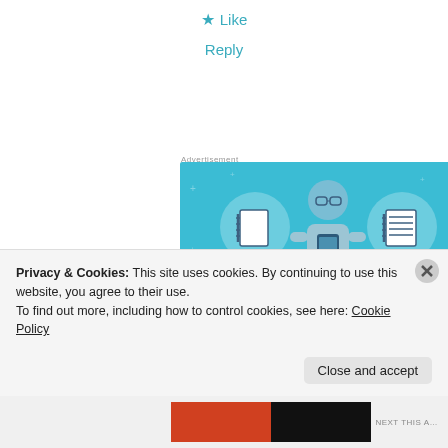★ Like
Reply
Advertisement
[Figure (illustration): Day One journaling app advertisement on blue background showing a person holding a phone with notebook icons on either side, text reads DAY ONE - The only journaling app you'll ever need. Get the app button at bottom.]
Privacy & Cookies: This site uses cookies. By continuing to use this website, you agree to their use.
To find out more, including how to control cookies, see here: Cookie Policy
Close and accept